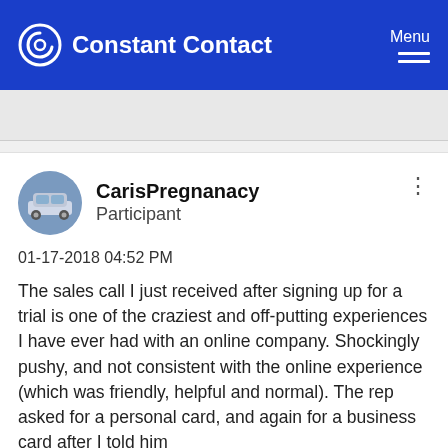Constant Contact | Menu
CarisPregnanacy
Participant
01-17-2018 04:52 PM
The sales call I just received after signing up for a trial is one of the craziest and off-putting experiences I have ever had with an online company. Shockingly pushy, and not consistent with the online experience (which was friendly, helpful and normal). The rep asked for a personal card, and again for a business card after I told him